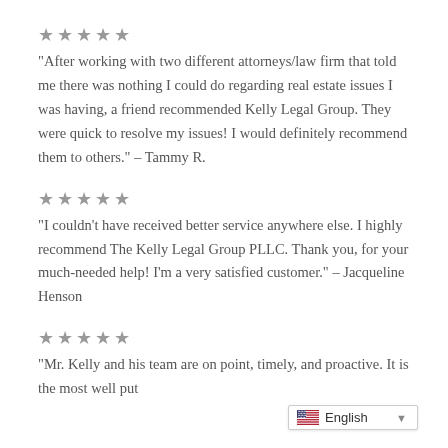★★★★★
“After working with two different attorneys/law firm that told me there was nothing I could do regarding real estate issues I was having, a friend recommended Kelly Legal Group. They were quick to resolve my issues! I would definitely recommend them to others.” – Tammy R.
★★★★★
“I couldn’t have received better service anywhere else. I highly recommend The Kelly Legal Group PLLC. Thank you, for your much-needed help! I’m a very satisfied customer.” – Jacqueline Henson
★★★★★
“Mr. Kelly and his team are on point, timely, and proactive. It is the most well put
[Figure (screenshot): Language selector widget showing a US flag icon and the text 'English' with a dropdown arrow]